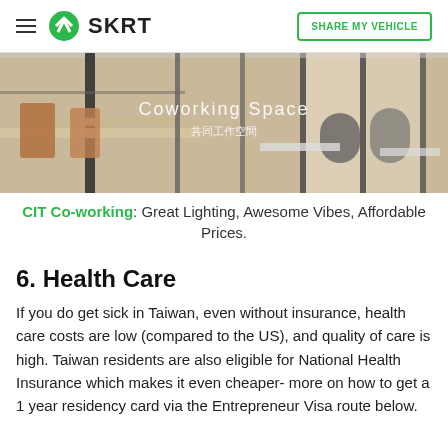SKRT | SHARE MY VEHICLE
[Figure (photo): Interior of a coworking space with desks, chairs, large windows with natural light, and black structural columns. Text overlay reads 'Coworking Space' and Chinese characters below.]
CIT Co-working: Great Lighting, Awesome Vibes, Affordable Prices.
6. Health Care
If you do get sick in Taiwan, even without insurance, health care costs are low (compared to the US), and quality of care is high. Taiwan residents are also eligible for National Health Insurance which makes it even cheaper- more on how to get a 1 year residency card via the Entrepreneur Visa route below.